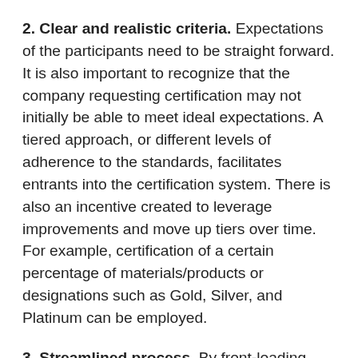2. Clear and realistic criteria. Expectations of the participants need to be straight forward. It is also important to recognize that the company requesting certification may not initially be able to meet ideal expectations. A tiered approach, or different levels of adherence to the standards, facilitates entrants into the certification system. There is also an incentive created to leverage improvements and move up tiers over time. For example, certification of a certain percentage of materials/products or designations such as Gold, Silver, and Platinum can be employed.
3. Streamlined process. By front-loading information to potential adopters about expectations, procedures, and communication mechanisms of the system, the back-and-forth between parties can be reduced. The remainder of the process can be simplified to core elements and utilization of friendly technology can...